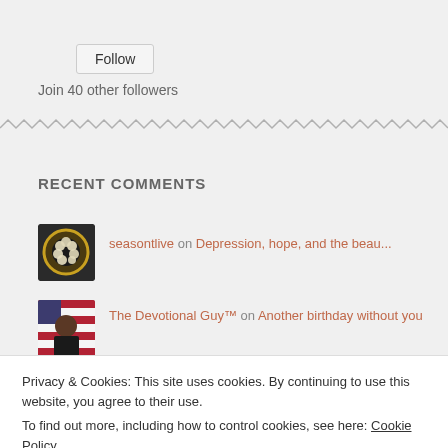Follow
Join 40 other followers
RECENT COMMENTS
seasontlive on Depression, hope, and the beau...
The Devotional Guy™ on Another birthday without you
Privacy & Cookies: This site uses cookies. By continuing to use this website, you agree to their use.
To find out more, including how to control cookies, see here: Cookie Policy
Close and accept